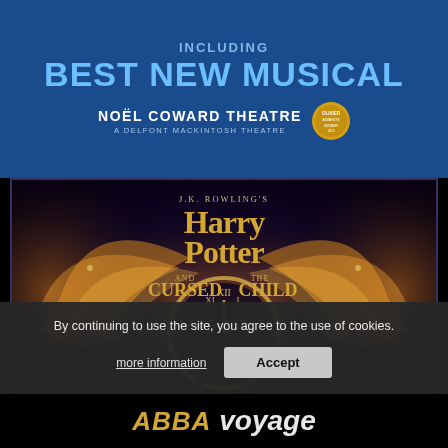INCLUDING BEST NEW MUSICAL
NOËL COWARD THEATRE
A DELFONT MACKINTOSH THEATRE
[Figure (illustration): Harry Potter and the Cursed Child theatrical poster. Dark purple/navy background with golden fire wings and lightning effects surrounding two figures in front of a large clock face. Title text in gold: J.K. Rowling's Harry Potter and the Cursed Child, Palace Theatre.]
By continuing to use the site, you agree to the use of cookies.
more information
Accept
ABBA voyage